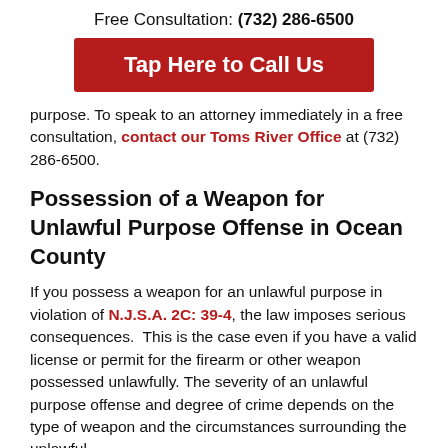Free Consultation: (732) 286-6500
Tap Here to Call Us
purpose. To speak to an attorney immediately in a free consultation, contact our Toms River Office at (732) 286-6500.
Possession of a Weapon for Unlawful Purpose Offense in Ocean County
If you possess a weapon for an unlawful purpose in violation of N.J.S.A. 2C: 39-4, the law imposes serious consequences.  This is the case even if you have a valid license or permit for the firearm or other weapon possessed unlawfully. The severity of an unlawful purpose offense and degree of crime depends on the type of weapon and the circumstances surrounding the unlawful